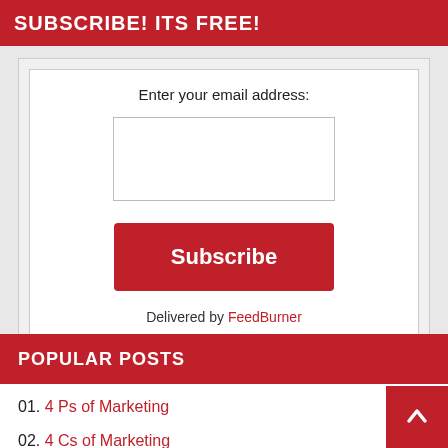SUBSCRIBE! ITS FREE!
Enter your email address:
[Figure (screenshot): Email input text box (empty)]
Subscribe
Delivered by FeedBurner
POPULAR POSTS
01. 4 Ps of Marketing
02. 4 Cs of Marketing